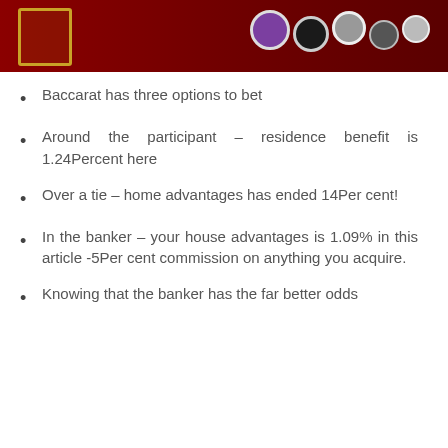[Figure (photo): Casino-themed photo showing casino chips (purple, dark, silver) and a red felt table surface with gold card corner detail]
Baccarat has three options to bet
Around the participant – residence benefit is 1.24Percent here
Over a tie – home advantages has ended 14Per cent!
In the banker – your house advantages is 1.09% in this article -5Per cent commission on anything you acquire.
Knowing that the banker has the far better odds